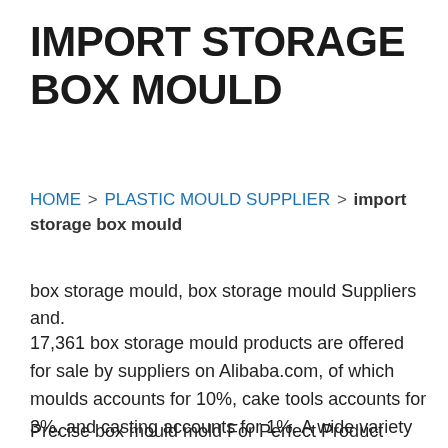IMPORT STORAGE BOX MOULD
HOME > PLASTIC MOULD SUPPLIER > import storage box mould
box storage mould, box storage mould Suppliers and.
17,361 box storage mould products are offered for sale by suppliers on Alibaba.com, of which moulds accounts for 10%, cake tools accounts for 3%, and casting accounts for 1%. A wide variety of box storage mould options are available to you, such as total solution for projects, graphic design, and 3d model design.
Precise box mould mold For Perfect Product Shaping - Alibaba